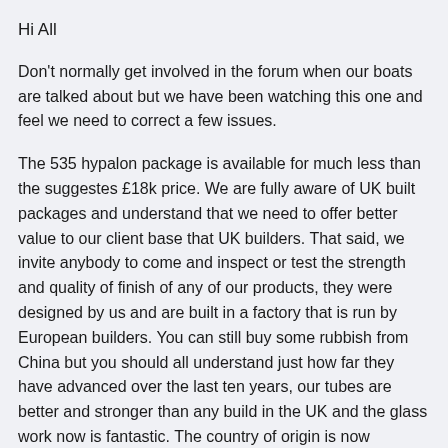Hi All
Don't normally get involved in the forum when our boats are talked about but we have been watching this one and feel we need to correct a few issues.
The 535 hypalon package is available for much less than the suggestes £18k price. We are fully aware of UK built packages and understand that we need to offer better value to our client base that UK builders. That said, we invite anybody to come and inspect or test the strength and quality of finish of any of our products, they were designed by us and are built in a factory that is run by European builders. You can still buy some rubbish from China but you should all understand just how far they have advanced over the last ten years, our tubes are better and stronger than any build in the UK and the glass work now is fantastic. The country of origin is now irrelevant, look at your cars, appliances, phones, laptops, bikes etc etc. So much of it is made in China. The UK is the only Country that still has this hang up about where a boat is built. The ONLY important factor is WHO BUILDS THEM.
Please do not hesitate to talk to us about any worries or issues you may have and please feel welcome to inspect any XPRO rib